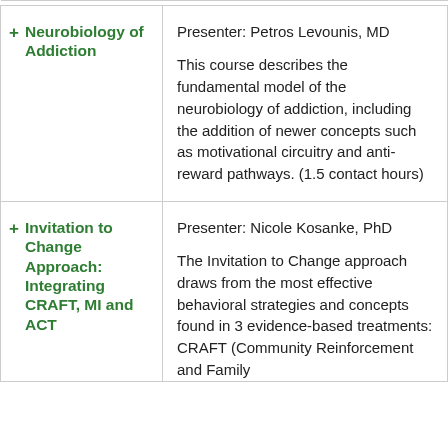| Course | Details |
| --- | --- |
| + Neurobiology of Addiction | Presenter: Petros Levounis, MD

This course describes the fundamental model of the neurobiology of addiction, including the addition of newer concepts such as motivational circuitry and anti-reward pathways. (1.5 contact hours) |
| + Invitation to Change Approach: Integrating CRAFT, MI and ACT | Presenter: Nicole Kosanke, PhD

The Invitation to Change approach draws from the most effective behavioral strategies and concepts found in 3 evidence-based treatments: CRAFT (Community Reinforcement and Family Training)... |